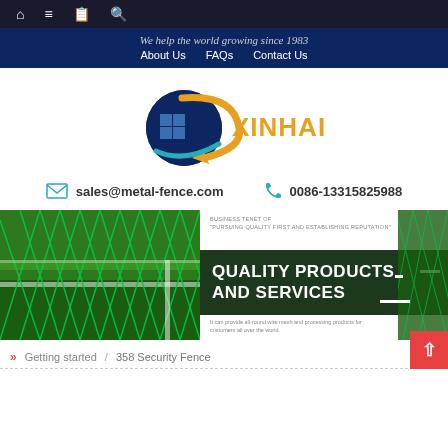Navigation bar with home, menu, book, and search icons
We help the world growing since 1983 | About Us   FAQs   Contact Us
[Figure (logo): XINHAI company logo with blue globe and gold arrow/S shape]
sales@metal-fence.com   0086-13315825988
[Figure (photo): Green chain-link fence in front of green grass/sports field, with overlay banner reading QUALITY PRODUCTS AND SERVICES. Business tenet: PURSUING QUALITY FIRST AND ESTABLISHING REPUTATION. It can provide all-round wire mesh and processing products for customers all over the world.]
»   Getting started   /   358 Security Fence